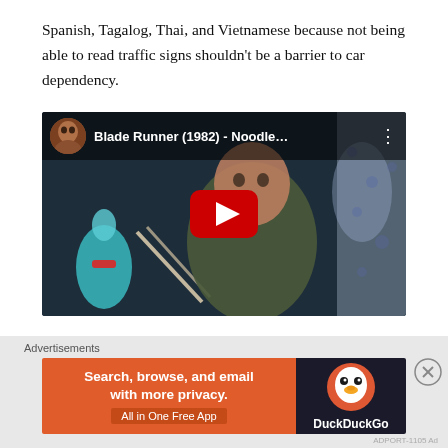Spanish, Tagalog, Thai, and Vietnamese because not being able to read traffic signs shouldn't be a barrier to car dependency.
[Figure (screenshot): YouTube video embed showing Blade Runner (1982) - Noodle... scene with a play button overlay and a circular thumbnail of a person eating in the top-left corner.]
Hollywood, as the unofficial booster of the city, is the
Advertisements
[Figure (screenshot): DuckDuckGo advertisement banner: 'Search, browse, and email with more privacy. All in One Free App' on orange background with DuckDuckGo logo on dark background.]